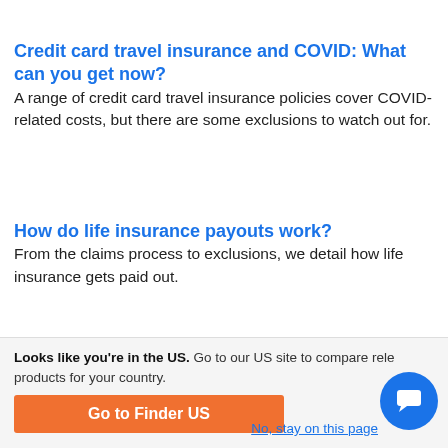Credit card travel insurance and COVID: What can you get now?
A range of credit card travel insurance policies cover COVID-related costs, but there are some exclusions to watch out for.
How do life insurance payouts work?
From the claims process to exclusions, we detail how life insurance gets paid out.
Flight cancellations soar: What are your options?
Virgin canned over 14% of its flights last week and Qantas
Looks like you're in the US. Go to our US site to compare rele products for your country.
Go to Finder US
No, stay on this page